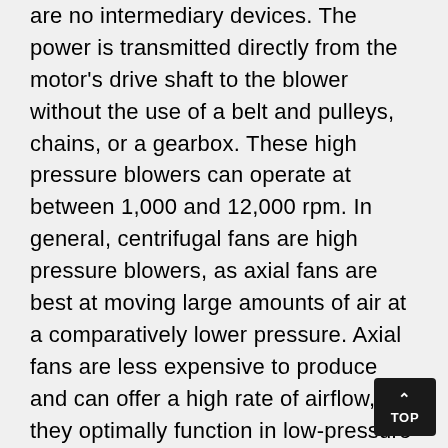are no intermediary devices. The power is transmitted directly from the motor's drive shaft to the blower without the use of a belt and pulleys, chains, or a gearbox. These high pressure blowers can operate at between 1,000 and 12,000 rpm. In general, centrifugal fans are high pressure blowers, as axial fans are best at moving large amounts of air at a comparatively lower pressure. Axial fans are less expensive to produce and can offer a high rate of airflow, but they optimally function in low-pressure environments, such as cooling systems, clean room aeration, parking garage exhaust ventilation, and grain aeration. The more expensive centrifugal blowers operate at about four times the pressure of axial fans, as seen and felt with blowdryers, inflators, and leaf blowers.